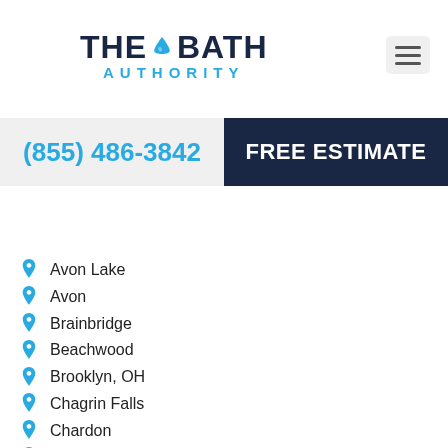THE BATH AUTHORITY
(855) 486-3842
FREE ESTIMATE
Avon Lake
Avon
Brainbridge
Beachwood
Brooklyn, OH
Chagrin Falls
Chardon
Eaton
Brunswick